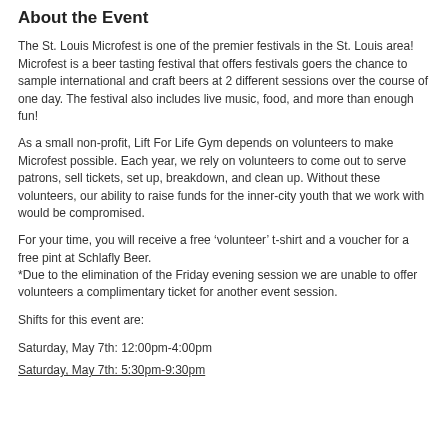About the Event
The St. Louis Microfest is one of the premier festivals in the St. Louis area! Microfest is a beer tasting festival that offers festivals goers the chance to sample international and craft beers at 2 different sessions over the course of one day. The festival also includes live music, food, and more than enough fun!
As a small non-profit, Lift For Life Gym depends on volunteers to make Microfest possible. Each year, we rely on volunteers to come out to serve patrons, sell tickets, set up, breakdown, and clean up. Without these volunteers, our ability to raise funds for the inner-city youth that we work with would be compromised.
For your time, you will receive a free ‘volunteer’ t-shirt and a voucher for a free pint at Schlafly Beer.
*Due to the elimination of the Friday evening session we are unable to offer volunteers a complimentary ticket for another event session.
Shifts for this event are:
Saturday, May 7th: 12:00pm-4:00pm
Saturday, May 7th: 5:30pm-9:30pm